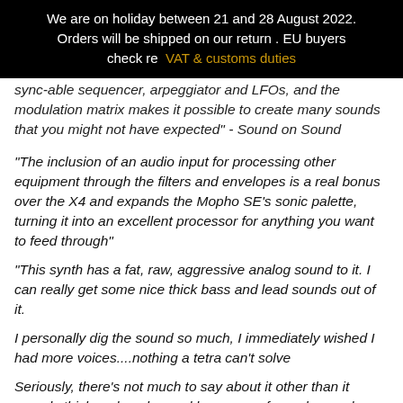We are on holiday between 21 and 28 August 2022. Orders will be shipped on our return . EU buyers check re  VAT & customs duties
sync-able sequencer, arpeggiator and LFOs, and the modulation matrix makes it possible to create many sounds that you might not have expected" - Sound on Sound
"The inclusion of an audio input for processing other equipment through the filters and envelopes is a real bonus over the X4 and expands the Mopho SE’s sonic palette, turning it into an excellent processor for anything you want to feed through"
"This synth has a fat, raw, aggressive analog sound to it. I can really get some nice thick bass and lead sounds out of it.
I personally dig the sound so much, I immediately wished I had more voices....nothing a tetra can’t solve
Seriously, there’s not much to say about it other than it sounds thick and analog and has more of an edgy modern